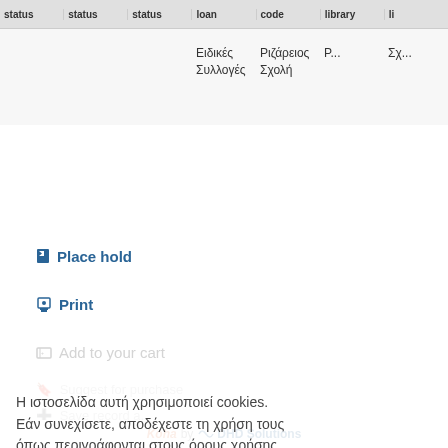| status | status | status | loan | code | library |  |
| --- | --- | --- | --- | --- | --- | --- |
|  |  |  | Ειδικές Συλλογές | Ριζάρειος Σχολή | Ρ... | Σχ... |
Place hold
Print
Add to your cart
Η ιστοσελίδα αυτή χρησιμοποιεί cookies. Εάν συνεχίσετε, αποδέχεστε τη χρήση τους όπως περιγράφονται στους όρους χρήσης και πολιτικής δεδομένων  Όροι χρήσης
Το κατάλαβα
Koha by DHD Solutions